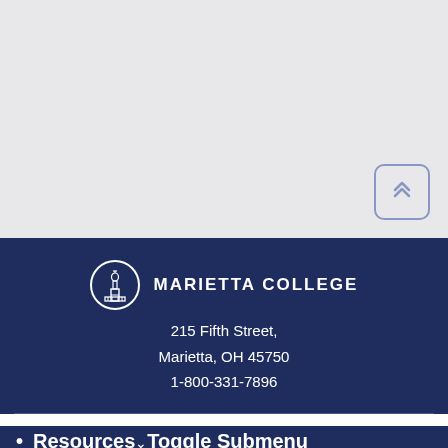[Figure (other): Gray background top section of a webpage with a scroll-to-top button (double chevron up) in the bottom-right corner, styled with a rounded blue-gray border.]
MARIETTA COLLEGE
215 Fifth Street,
Marietta, OH 45750
1-800-331-7896
Resources Toggle Submenu
Financial Aid